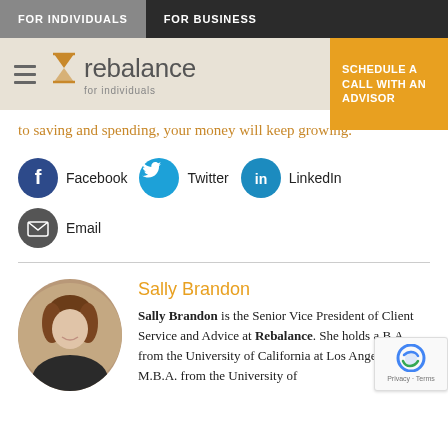FOR INDIVIDUALS | FOR BUSINESS
[Figure (logo): Rebalance for individuals logo with hourglass icon, hamburger menu, and Schedule a Call with an Advisor button]
to saving and spending, your money will keep growing.
[Figure (infographic): Social sharing icons: Facebook, Twitter, LinkedIn, Email]
Sally Brandon
Sally Brandon is the Senior Vice President of Client Service and Advice at Rebalance. She holds a B.A. from the University of California at Los Angeles and an M.B.A. from the University of